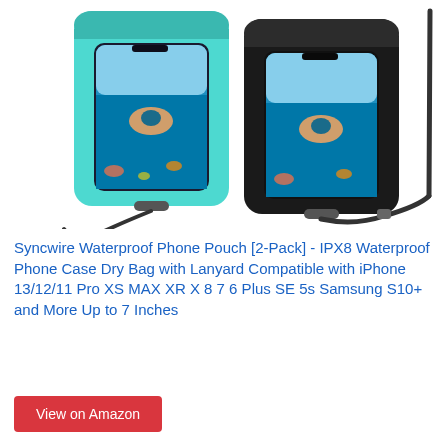[Figure (photo): Product photo showing two waterproof phone pouches — one teal/cyan and one black — each containing a smartphone displaying an underwater snorkeling photo. Both pouches have black lanyards attached.]
Syncwire Waterproof Phone Pouch [2-Pack] - IPX8 Waterproof Phone Case Dry Bag with Lanyard Compatible with iPhone 13/12/11 Pro XS MAX XR X 8 7 6 Plus SE 5s Samsung S10+ and More Up to 7 Inches
View on Amazon